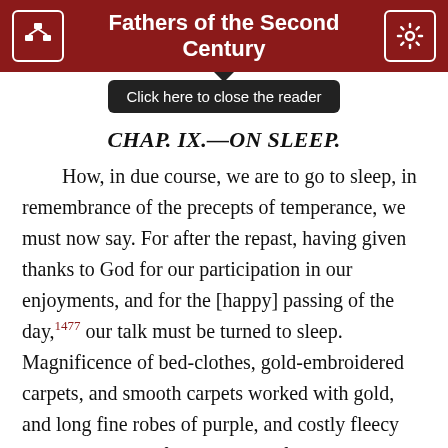Fathers of the Second Century
Click here to close the reader
CHAP. IX.—ON SLEEP.
How, in due course, we are to go to sleep, in remembrance of the precepts of temperance, we must now say. For after the repast, having given thanks to God for our participation in our enjoyments, and for the [happy] passing of the day,1477 our talk must be turned to sleep. Magnificence of bed-clothes, gold-embroidered carpets, and smooth carpets worked with gold, and long fine robes of purple, and costly fleecy cloaks, and manufactured rugs of purple, and mantles of